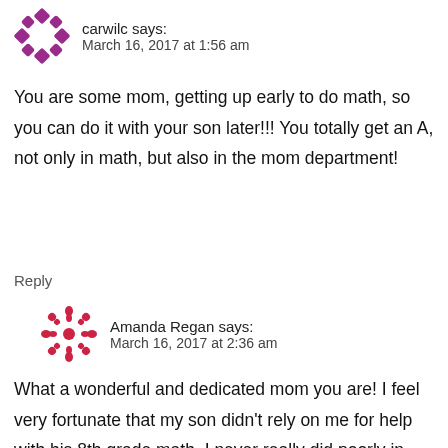[Figure (illustration): Purple decorative avatar icon made of diamond shapes arranged in a circle]
carwilc says:
March 16, 2017 at 1:56 am
You are some mom, getting up early to do math, so you can do it with your son later!!! You totally get an A, not only in math, but also in the mom department!
Reply
[Figure (illustration): Red decorative avatar icon with snowflake/mandala pattern]
Amanda Regan says:
March 16, 2017 at 2:36 am
What a wonderful and dedicated mom you are! I feel very fortunate that my son didn't rely on me for help with his 8th grade math. I never really did poorly in